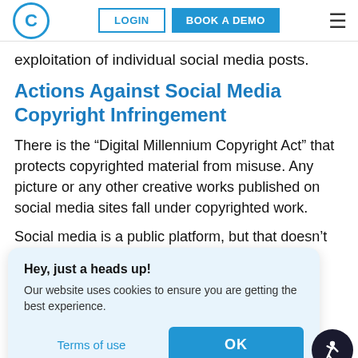[Figure (screenshot): Website navigation bar with circular C logo, LOGIN button, BOOK A DEMO button, and hamburger menu icon]
exploitation of individual social media posts.
Actions Against Social Media Copyright Infringement
There is the “Digital Millennium Copyright Act” that protects copyrighted material from misuse. Any picture or any other creative works published on social media sites fall under copyrighted work.
Social media is a public platform, but that doesn’t n w a o g c
Hey, just a heads up! Our website uses cookies to ensure you are getting the best experience.
Terms of use
OK